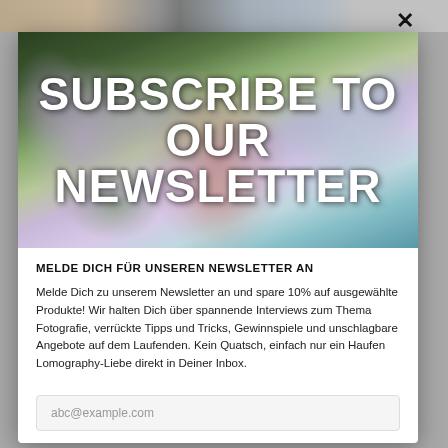[Figure (photo): Newsletter subscription modal popup. Hero image shows a person's face partially hidden by purple/lilac flowers with overlaid text 'SUBSCRIBE TO OUR NEWSLETTER' in large white bold uppercase letters.]
MELDE DICH FÜR UNSEREN NEWSLETTER AN
Melde Dich zu unserem Newsletter an und spare 10% auf ausgewählte Produkte! Wir halten Dich über spannende Interviews zum Thema Fotografie, verrückte Tipps und Tricks, Gewinnspiele und unschlagbare Angebote auf dem Laufenden. Kein Quatsch, einfach nur ein Haufen Lomography-Liebe direkt in Deiner Inbox.
abc@example.com